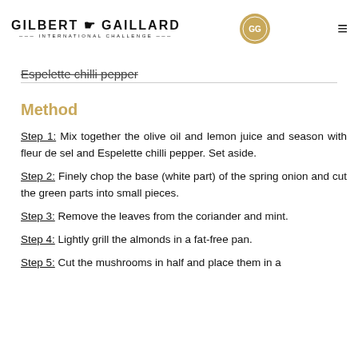GILBERT & GAILLARD INTERNATIONAL CHALLENGE
Espelette chilli pepper
Method
Step 1: Mix together the olive oil and lemon juice and season with fleur de sel and Espelette chilli pepper. Set aside.
Step 2: Finely chop the base (white part) of the spring onion and cut the green parts into small pieces.
Step 3: Remove the leaves from the coriander and mint.
Step 4: Lightly grill the almonds in a fat-free pan.
Step 5: Cut the mushrooms in half and place them in a